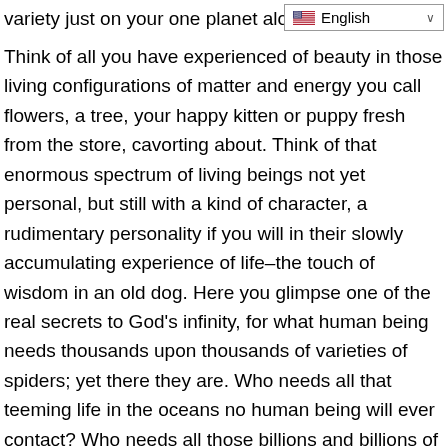variety just on your one planet alo
Think of all you have experienced of beauty in those living configurations of matter and energy you call flowers, a tree, your happy kitten or puppy fresh from the store, cavorting about. Think of that enormous spectrum of living beings not yet personal, but still with a kind of character, a rudimentary personality if you will in their slowly accumulating experience of life–the touch of wisdom in an old dog. Here you glimpse one of the real secrets to God's infinity, for what human being needs thousands upon thousands of varieties of spiders; yet there they are. Who needs all that teeming life in the oceans no human being will ever contact? Who needs all those billions and billions of trees no person will ever see?